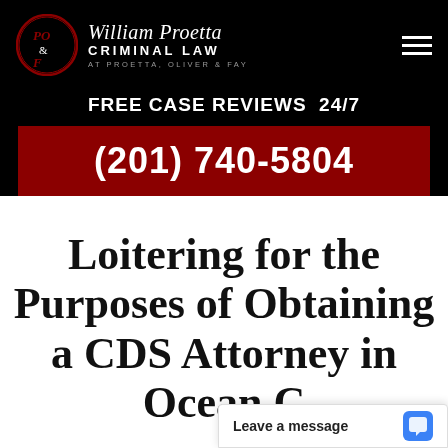[Figure (logo): William Proetta Criminal Law logo with PO&F circle emblem and navigation hamburger menu on black background]
FREE CASE REVIEWS  24/7
(201) 740-5804
Loitering for the Purposes of Obtaining a CDS Attorney in Ocean C...
Leave a message